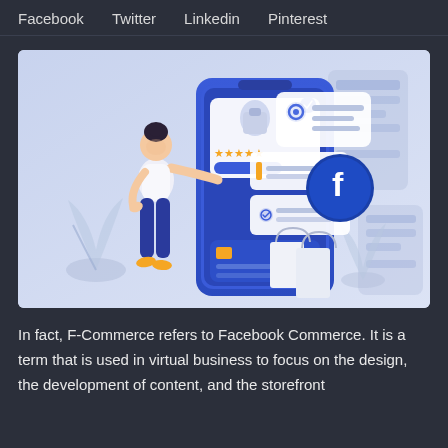Facebook   Twitter   Linkedin   Pinterest
[Figure (illustration): Illustration of a woman interacting with a large smartphone showing Facebook commerce features including product listings, ratings (5 stars), settings gear icon, Facebook logo, and shopping bags in a blue/purple color scheme]
In fact, F-Commerce refers to Facebook Commerce. It is a term that is used in virtual business to focus on the design, the development of content, and the storefront